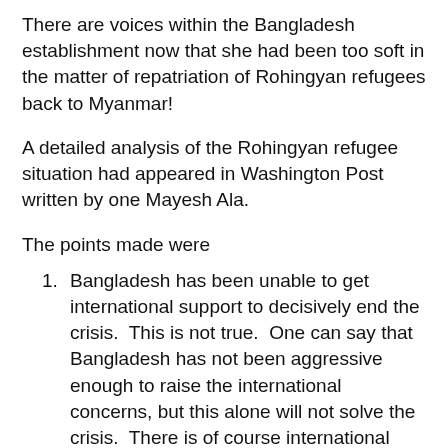There are voices within the Bangladesh establishment now that she had been too soft in the matter of repatriation of Rohingyan refugees back to Myanmar!
A detailed analysis of the Rohingyan refugee situation had appeared in Washington Post written by one Mayesh Ala.
The points made were
Bangladesh has been unable to get international support to decisively end the crisis.  This is not true.  One can say that Bangladesh has not been aggressive enough to raise the international concerns, but this alone will not solve the crisis.  There is of course international pressure.  PM Hasina had directly talked to Xi Jin ping to intervene and put pressure on Myanmar which the latter had agreed .  Japan had also offered to mediate and